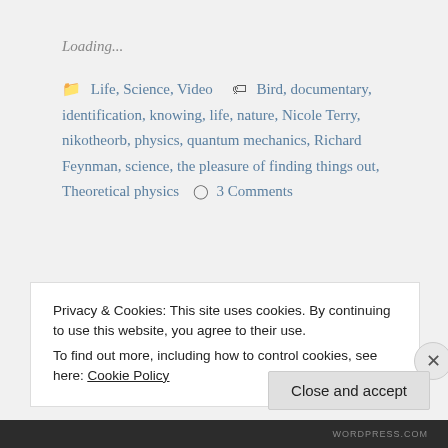Loading...
Life, Science, Video   Bird, documentary, identification, knowing, life, nature, Nicole Terry, nikotheorb, physics, quantum mechanics, Richard Feynman, science, the pleasure of finding things out, Theoretical physics   3 Comments
Privacy & Cookies: This site uses cookies. By continuing to use this website, you agree to their use.
To find out more, including how to control cookies, see here: Cookie Policy
Close and accept